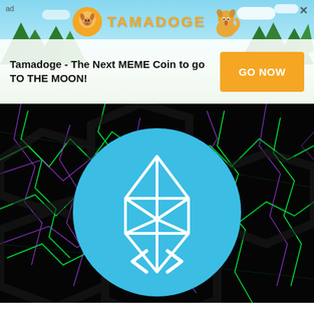[Figure (infographic): Tamadoge advertisement banner with sky/tree background, Tamadoge logo with dog mascot, text 'Tamadoge - The Next MEME Coin to go TO THE MOON!' and orange 'GO NOW' button]
[Figure (illustration): Dark cracked neon background (black with green and purple lightning cracks) with a large blue circle in center containing a white geometric diamond/gem logo]
Join Us on Google News
[Figure (infographic): Three orange circle social media buttons: Facebook, Twitter, LinkedIn]